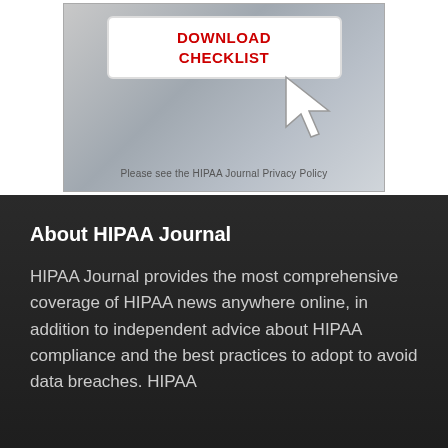[Figure (screenshot): Download checklist widget with a white button showing 'DOWNLOAD CHECKLIST' in red text, a cursor arrow icon, on a grey gradient background, with footer text 'Please see the HIPAA Journal Privacy Policy']
Please see the HIPAA Journal Privacy Policy
About HIPAA Journal
HIPAA Journal provides the most comprehensive coverage of HIPAA news anywhere online, in addition to independent advice about HIPAA compliance and the best practices to adopt to avoid data breaches. HIPAA